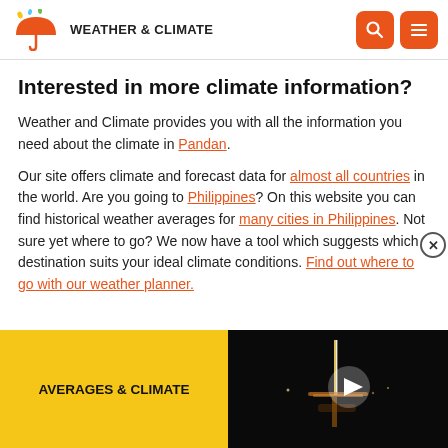WEATHER & CLIMATE
Interested in more climate information?
Weather and Climate provides you with all the information you need about the climate in Pandan.
Our site offers climate and forecast data for almost all countries in the world. Are you going to Philippines? On this website you can find historical weather averages for many cities in Philippines. Not sure yet where to go? We now have a tool which suggests which destination suits your ideal climate conditions. Find out where to go with our weather planner.
[Figure (screenshot): Yellow button labeled AVERAGES & CLIMATE on the left; video thumbnail showing a dark night scene with lights on the right]
[Figure (photo): Night scene with vertical lights reflected on water]